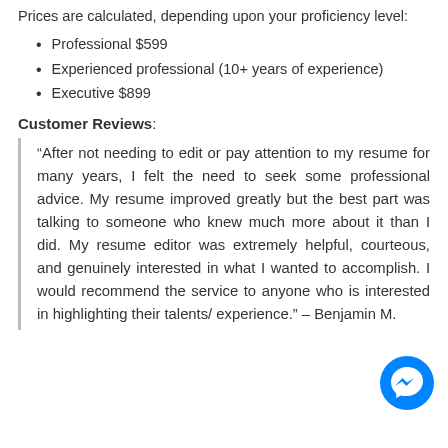Prices are calculated, depending upon your proficiency level:
Professional $599
Experienced professional (10+ years of experience)
Executive $899
Customer Reviews:
“After not needing to edit or pay attention to my resume for many years, I felt the need to seek some professional advice. My resume improved greatly but the best part was talking to someone who knew much more about it than I did. My resume editor was extremely helpful, courteous, and genuinely interested in what I wanted to accomplish. I would recommend the service to anyone who is interested in highlighting their talents/ experience.” – Benjamin M.